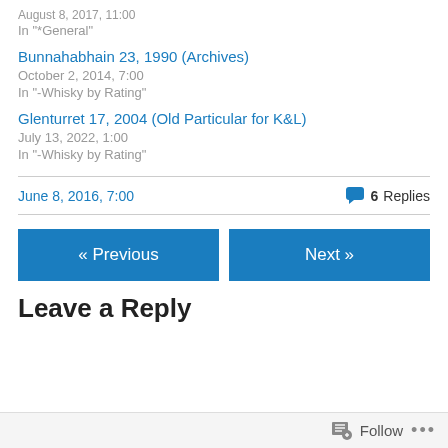August 8, 2017, 11:00
In "*General"
Bunnahabhain 23, 1990 (Archives)
October 2, 2014, 7:00
In "-Whisky by Rating"
Glenturret 17, 2004 (Old Particular for K&L)
July 13, 2022, 1:00
In "-Whisky by Rating"
June 8, 2016, 7:00
6 Replies
« Previous
Next »
Leave a Reply
Follow